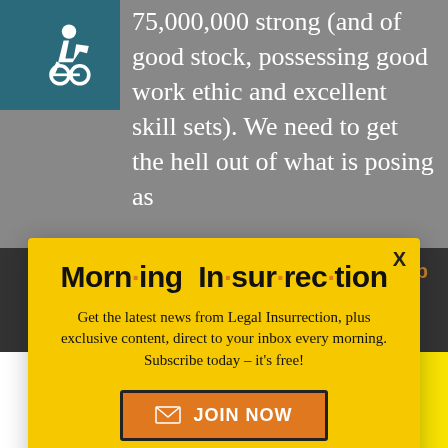[Figure (illustration): Wheelchair accessibility icon - white figure in wheelchair on teal/dark cyan background]
75,000,000 strong (and of good stock, possessing good work ethic and excellent skill sets). We need to get the hell out of what is posing as
[Figure (screenshot): Morning Insurrection newsletter signup modal popup with yellow background. Title: 'Morn·ing In·sur·rec·tion'. Body text: 'Get the latest news from Legal Insurrection, plus exclusive content, direct to your inbox every morning. Subscribe today – it's free!' Button: 'JOIN NOW' with envelope icon. Close X button in top right.]
[Figure (infographic): Ad banner: THE PERSPECTIVE - SEE WHAT YOU'RE MISSING - READ MORE. White to teal gradient with yellow section. X close button above.]
at 9:17 pm